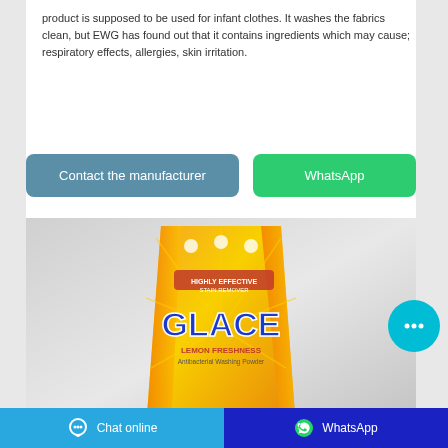product is supposed to be used for infant clothes. It washes the fabrics clean, but EWG has found out that it contains ingredients which may cause; respiratory effects, allergies, skin irritation.
[Figure (screenshot): Two buttons: 'Contact the manufacturer' (blue/teal) and 'WhatsApp' (green)]
[Figure (photo): Product photo of GLACE Lemon Freshness Antibacterial Washing Powder in yellow packaging]
[Figure (infographic): Cyan chat bubble icon (floating action button) with three dots]
Chat online   WhatsApp